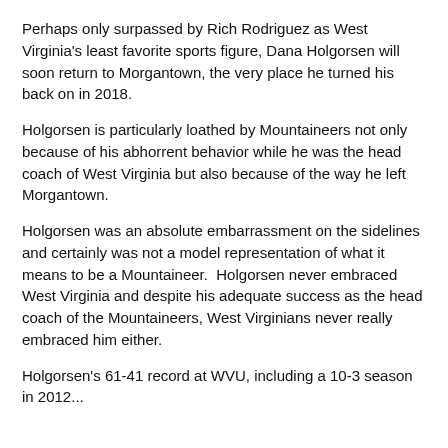Perhaps only surpassed by Rich Rodriguez as West Virginia's least favorite sports figure, Dana Holgorsen will soon return to Morgantown, the very place he turned his back on in 2018.
Holgorsen is particularly loathed by Mountaineers not only because of his abhorrent behavior while he was the head coach of West Virginia but also because of the way he left Morgantown.
Holgorsen was an absolute embarrassment on the sidelines and certainly was not a model representation of what it means to be a Mountaineer.  Holgorsen never embraced West Virginia and despite his adequate success as the head coach of the Mountaineers, West Virginians never really embraced him either.
Holgorsen's 61-41 record at WVU, including a 10-3 season in 2012...